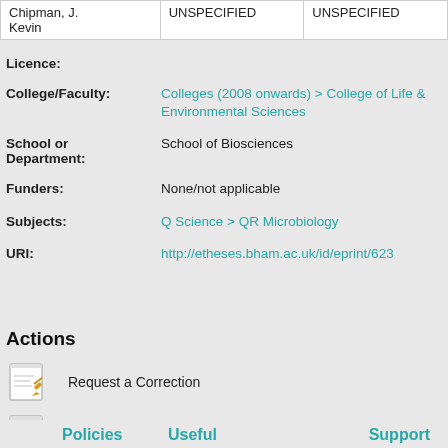| Name | UNSPECIFIED | UNSPECIFIED |
| --- | --- | --- |
| Chipman, J. Kevin | UNSPECIFIED | UNSPECIFIED |
Licence:
College/Faculty: Colleges (2008 onwards) > College of Life & Environmental Sciences
School or Department: School of Biosciences
Funders: None/not applicable
Subjects: Q Science > QR Microbiology
URI: http://etheses.bham.ac.uk/id/eprint/623
Actions
Request a Correction
View Item
Policies Useful Support